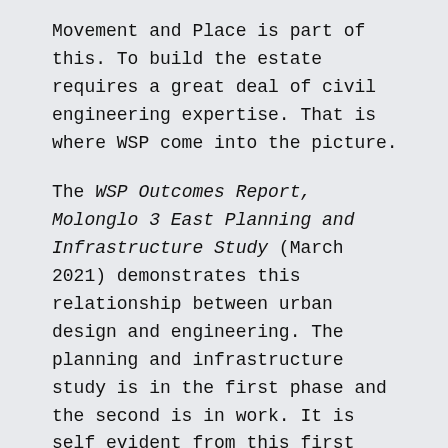Movement and Place is part of this. To build the estate requires a great deal of civil engineering expertise. That is where WSP come into the picture.
The WSP Outcomes Report, Molonglo 3 East Planning and Infrastructure Study (March 2021) demonstrates this relationship between urban design and engineering. The planning and infrastructure study is in the first phase and the second is in work. It is self evident from this first report how much still needs to be done.
The WSP report covers sewerage, storm water, catchments, topography and a preliminary layout. The latter is largely informed from the design from RobertsDay. Missing is detail about the cycling network and infrastructure. WSP may say that it is too early, that it comes later, say in the estate